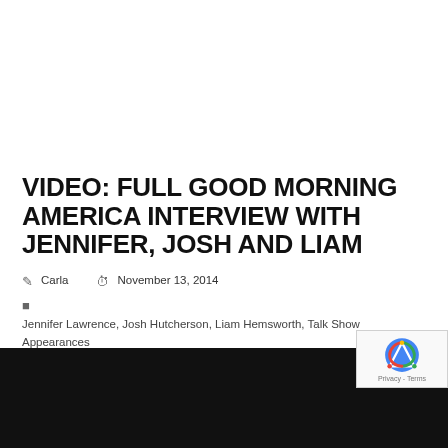VIDEO: FULL GOOD MORNING AMERICA INTERVIEW WITH JENNIFER, JOSH AND LIAM
Carla  November 13, 2014
Jennifer Lawrence, Josh Hutcherson, Liam Hemsworth, Talk Show Appearances
1 Comment
[Figure (screenshot): Black video player area at the bottom of the page, with reCAPTCHA overlay in the lower right corner showing the reCAPTCHA logo and 'Privacy - Terms' text.]